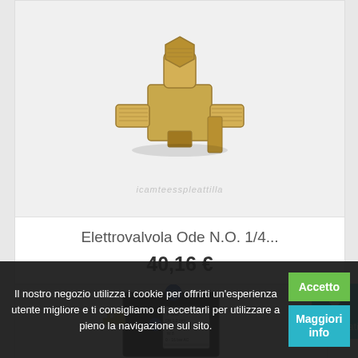[Figure (photo): Brass solenoid valve Ode N.O. 1/4 inch product photo on light grey background with watermark]
Elettrovalvola Ode N.O. 1/4...
40,16 €
[Figure (photo): Black solenoid valve/coil with electrical terminals and label showing P BAS, DN 1.2 mm, ED 100%, W 8, 0-16 bar AC, product code]
[Figure (other): Registrati button with user icon on cyan/teal background]
Il nostro negozio utilizza i cookie per offrirti un'esperienza utente migliore e ti consigliamo di accettarli per utilizzare a pieno la navigazione sul sito.